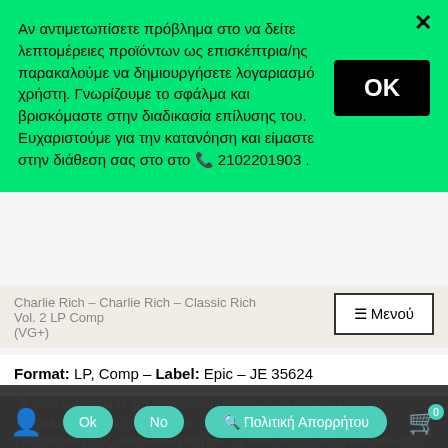Αν αντιμετωπίσετε πρόβλημα στο να δείτε λεπτομέρειες προϊόντων ως επισκέπτρια/ης παρακαλούμε να δημιουργήσετε λογαριασμό χρήστη. Γνωρίζουμε το σφάλμα και βρισκόμαστε στην διαδικασία επίλυσης του. Ευχαριστούμε για την κατανόηση και είμαστε στην διάθεση σας στο στο 📞 2102201903 .
Charlie Rich – Charlie Rich – Classic Rich Vol. 2 LP Comp (VG+)
≡ Μενού
Format: LP, Comp – Label: Epic – JE 35624
Media Condition: Very Good Plus (VG+)
Sleeve Condition: Very Good Plus (VG+)
Το www.usedrecords.gr χρησιμοποιεί cookies για τη διευκόλυνση των συναλλαγών με τους πελάτες του. Ο Καταναλωτής αποδέχεται την εγκατάσταση τους στον υπολογιστή του. Σε κάθε περίπτωση ο Καταναλωτής έχει τη δυνατότητα να ρυθμίσει τον browser του με τρόπο ώστε να απορρίπτει την χρήση των cookies.
Ok
No
Πολιτική Απορρήτου